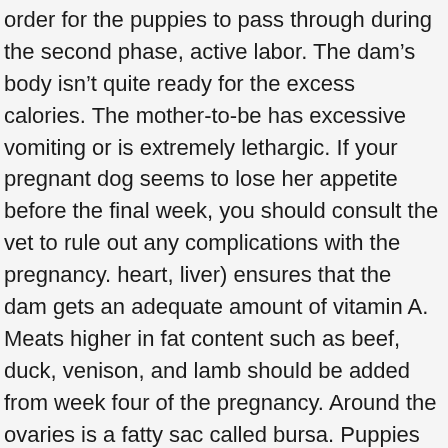order for the puppies to pass through during the second phase, active labor. The dam's body isn't quite ready for the excess calories. The mother-to-be has excessive vomiting or is extremely lethargic. If your pregnant dog seems to lose her appetite before the final week, you should consult the vet to rule out any complications with the pregnancy. heart, liver) ensures that the dam gets an adequate amount of vitamin A. Meats higher in fat content such as beef, duck, venison, and lamb should be added from week four of the pregnancy. Around the ovaries is a fatty sac called bursa. Puppies not whelped during this period of time may suffer birth complications including death. Breeding from your female dog is not a decision that should be taken lightly. Knowing When Your Dog Is Ready to Give Birth . The first puppy takes the longest to deliver. Your bitch's behaviour will probably change during this time too- look out for the following signs. Implantation of the embryonic puppy in the uterus occurs about 19 days after conception. She will exhibit several precursory signs prior to her